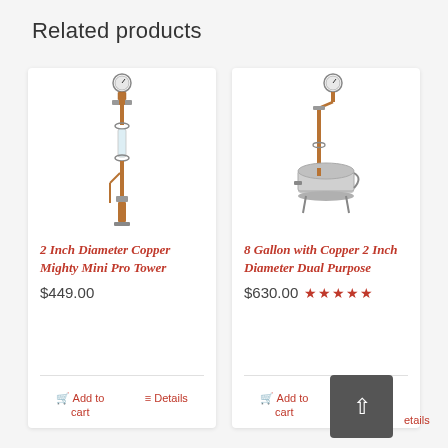Related products
[Figure (illustration): 2 Inch Diameter Copper Mighty Mini Pro Tower distillation apparatus with copper column, pressure gauge at top, and various clamps]
2 Inch Diameter Copper Mighty Mini Pro Tower
$449.00
Add to cart
Details
[Figure (illustration): 8 Gallon with Copper 2 Inch Diameter Dual Purpose distillation apparatus with stainless steel boiler and copper column]
8 Gallon with Copper 2 Inch Diameter Dual Purpose
$630.00 ★★★★★
Add to cart
Details